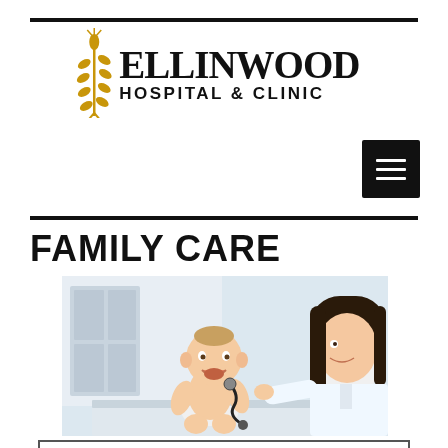[Figure (logo): Ellinwood Hospital & Clinic logo with wheat stalk icon and text]
[Figure (other): Hamburger menu button (three horizontal lines on black background)]
FAMILY CARE
[Figure (photo): Photo of a smiling baby being examined with a stethoscope by a female doctor in a white coat]
OFFICE HOURS